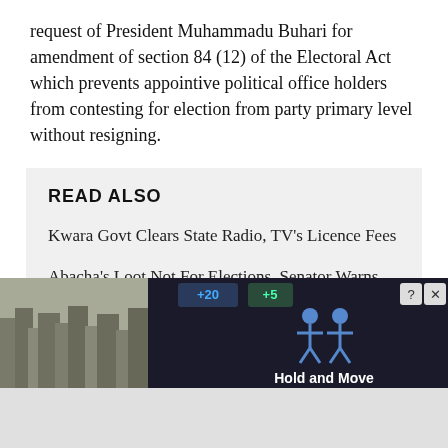request of President Muhammadu Buhari for amendment of section 84 (12) of the Electoral Act which prevents appointive political office holders from contesting for election from party primary level without resigning.
READ ALSO
Kwara Govt Clears State Radio, TV's Licence Fees
Abacha's Loot Not For Elections, Senator Warns Buhari
This online platform understands that the request was rejected after the Senate Leader, Senator Yahaya Abdullahi
[Figure (screenshot): Advertisement banner showing 'Hold and Move' app/game with dark background, human figure icons, score display showing +20 and +5, and close button (question mark and X icons) in top right corner.]